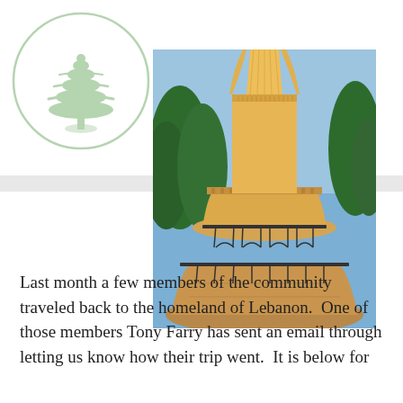[Figure (logo): Circular logo with a green cedar tree silhouette on a light green/white background, representing Lebanon]
[Figure (photo): Close-up photograph of a large golden statue (likely Our Lady of Lebanon) on a tiered circular stone pedestal with iron railings, with cedar trees and blue sky in the background]
Last month a few members of the community traveled back to the homeland of Lebanon.  One of those members Tony Farry has sent an email through letting us know how their trip went.  It is below for